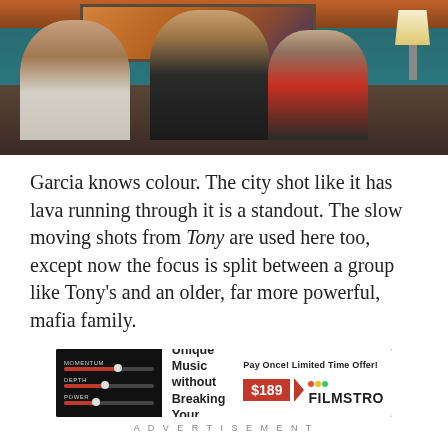[Figure (photo): Three young men sitting on a couch, with a painting on the wall behind them. The leftmost man is Black, wearing a white jacket. The center man wears a dark tracksuit and looks directly at the camera. The rightmost man wears a red and black tracksuit and appears to be exhaling smoke. Background shows a teal/blue wall and a lamp on the right.]
Garcia knows colour. The city shot like it has lava running through it is a standout. The slow moving shots from Tony are used here too, except now the focus is split between a group like Tony's and an older, far more powerful, mafia family.
[Figure (screenshot): Advertisement for Filmstro: Create Unique Music without Breaking Your Bank! Pay Once! Limited Time Offer! $189 FILMSTRO]
ADVERTISEMENT
Class and race issues are a theme of Cagnolino,